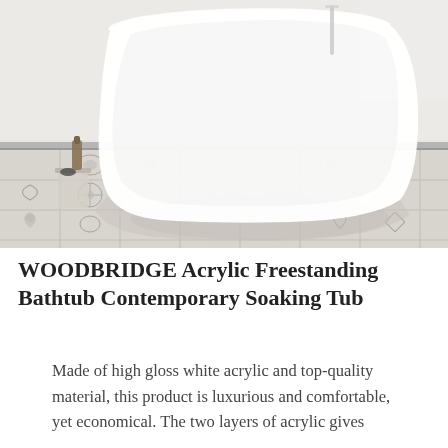[Figure (photo): A white freestanding acrylic soaking bathtub sitting on decorative patterned floor tiles in grey and white tones. A small side table with a soap dispenser and bowl is visible to the left. The room has white brick walls and grey wainscoting.]
WOODBRIDGE Acrylic Freestanding Bathtub Contemporary Soaking Tub
Made of high gloss white acrylic and top-quality material, this product is luxurious and comfortable, yet economical. The two layers of acrylic gives...